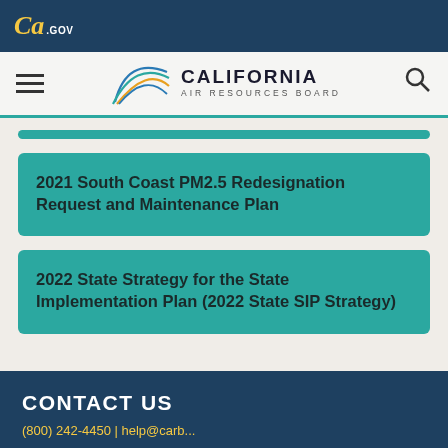CA.GOV
[Figure (logo): California Air Resources Board logo with stylized arc graphic and CALIFORNIA AIR RESOURCES BOARD text]
2021 South Coast PM2.5 Redesignation Request and Maintenance Plan
2022 State Strategy for the State Implementation Plan (2022 State SIP Strategy)
CONTACT US
(800) 242-4450 | help@carb...